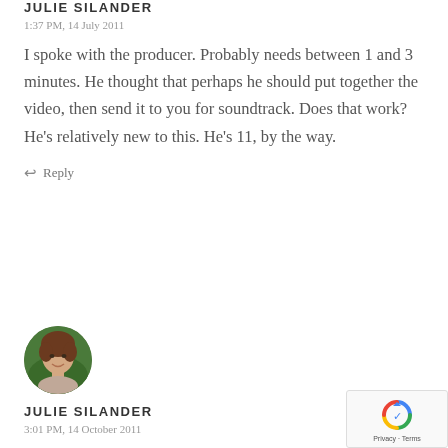JULIE SILANDER
1:37 PM, 14 July 2011
I spoke with the producer. Probably needs between 1 and 3 minutes. He thought that perhaps he should put together the video, then send it to you for soundtrack.  Does that work?  He's relatively new to this.  He's 11, by the way.
↩ Reply
[Figure (photo): Circular avatar photo of Julie Silander, a woman with brown hair, smiling, against a green background]
JULIE SILANDER
3:01 PM, 14 October 2011